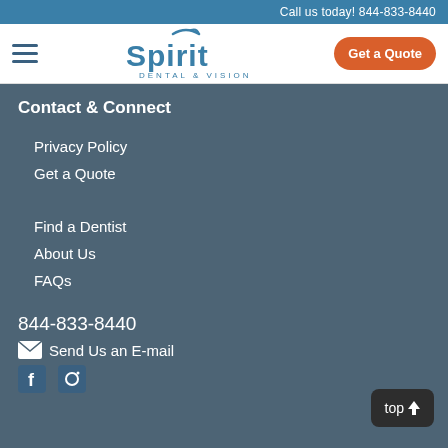Call us today! 844-833-8440
[Figure (logo): Spirit Dental & Vision logo with swoosh above the S and tagline DENTAL & VISION below]
Get a Quote (button)
Contact & Connect
Privacy Policy
Get a Quote
Find a Dentist
About Us
FAQs
844-833-8440
Send Us an E-mail
[Figure (illustration): Social media icons row (Facebook, Instagram)]